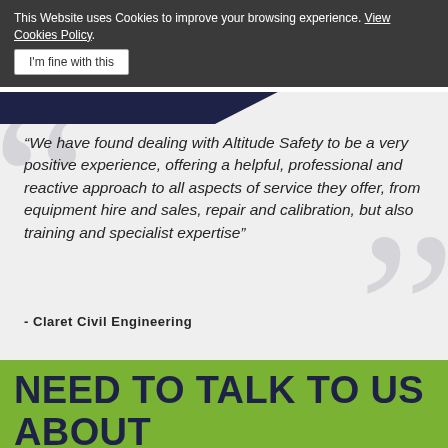This Website uses Cookies to improve your browsing experience. View Cookies Policy.
I'm fine with this
“We have found dealing with Altitude Safety to be a very positive experience, offering a helpful, professional and reactive approach to all aspects of service they offer, from equipment hire and sales, repair and calibration, but also training and specialist expertise”
- Claret Civil Engineering
NEED TO TALK TO US ABOUT